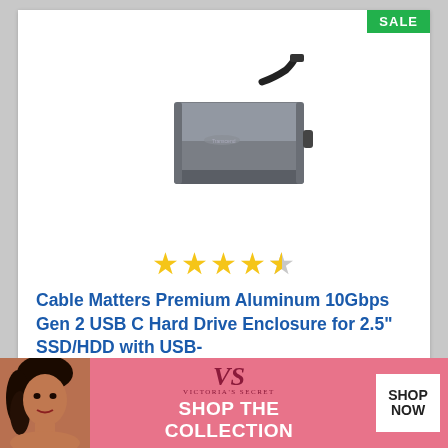SALE
[Figure (photo): Cable Matters Premium Aluminum USB-C hard drive enclosure device photo — silver rectangular enclosure with black USB-C cable attached at one end, viewed from a slight angle]
★★★★☆ (4.5 stars rating)
Cable Matters Premium Aluminum 10Gbps Gen 2 USB C Hard Drive Enclosure for 2.5" SSD/HDD with USB-C and USB A Cables, Thunderbolt 4/...
[Figure (photo): Victoria's Secret advertisement banner at the bottom of the page showing a woman model on the left, Victoria's Secret logo in center, 'SHOP THE COLLECTION' text, and a 'SHOP NOW' button on the right]